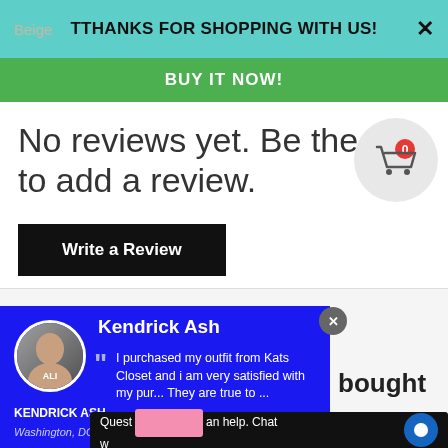TTHANKS FOR SHOPPING WITH US!
BUY IT NOW!
No reviews yet. Be the first to add a review.
Write a Review
Kendrick Ash
I purchased my outfit from Kats Closet and i am very satisfied with my pur... They are true to ...
KENDRICK ASH
Washington, DC
bought
Quest... an help. Chat w...